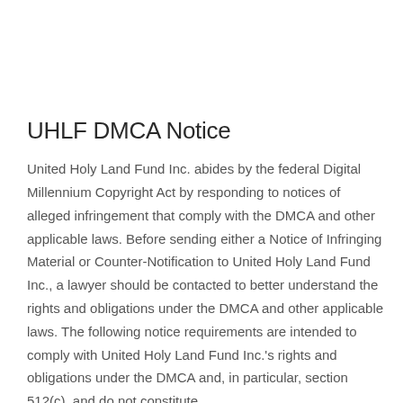UHLF DMCA Notice
United Holy Land Fund Inc. abides by the federal Digital Millennium Copyright Act by responding to notices of alleged infringement that comply with the DMCA and other applicable laws. Before sending either a Notice of Infringing Material or Counter-Notification to United Holy Land Fund Inc., a lawyer should be contacted to better understand the rights and obligations under the DMCA and other applicable laws. The following notice requirements are intended to comply with United Holy Land Fund Inc.'s rights and obligations under the DMCA and, in particular, section 512(c), and do not constitute